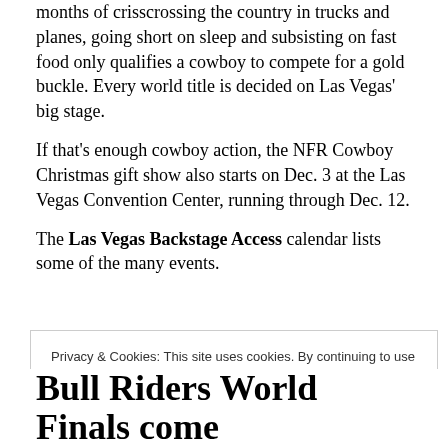months of crisscrossing the country in trucks and planes, going short on sleep and subsisting on fast food only qualifies a cowboy to compete for a gold buckle. Every world title is decided on Las Vegas' big stage.
If that's enough cowboy action, the NFR Cowboy Christmas gift show also starts on Dec. 3 at the Las Vegas Convention Center, running through Dec. 12.
The Las Vegas Backstage Access calendar lists some of the many events.
Privacy & Cookies: This site uses cookies. By continuing to use this website, you agree to their use. To find out more, including how to control cookies, see here: Cookie Policy
Close and accept
Bull Riders World Finals come